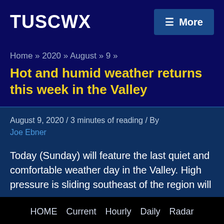TUSCWX
Home » 2020 » August » 9 »
Hot and humid weather returns this week in the Valley
August 9, 2020 / 3 minutes of reading / By Joe Ebner
Today (Sunday) will feature the last quiet and comfortable weather day in the Valley. High pressure is sliding southeast of the region will establish a southwest flow that will force hi…
HOME  Current  Hourly  Daily  Radar